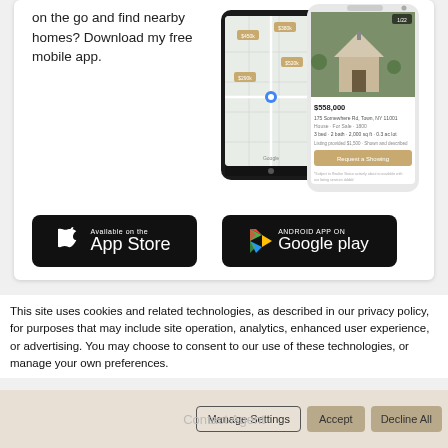on the go and find nearby homes? Download my free mobile app.
[Figure (screenshot): Two mobile phones showing a real estate app — one displaying a map view with home listings, the other showing a property photo and details.]
[Figure (logo): Available on the App Store button (black rounded rectangle with Apple logo)]
[Figure (logo): Android App on Google Play button (black rounded rectangle with Google Play logo)]
This site uses cookies and related technologies, as described in our privacy policy, for purposes that may include site operation, analytics, enhanced user experience, or advertising. You may choose to consent to our use of these technologies, or manage your own preferences.
Contact Agent
Manage Settings
Accept
Decline All